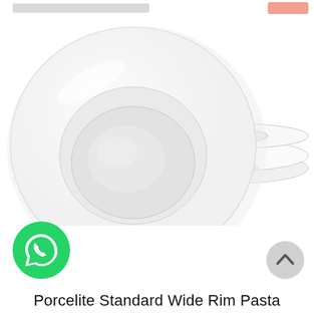[Figure (photo): Two white porcelain wide rim pasta bowls. One shown face-on from slight above angle showing the wide rim and deep center well, another shown from side angle showing the profile with wide flat rim and raised foot.]
[Figure (logo): WhatsApp logo - green circle with white phone/chat icon]
Porcelite Standard Wide Rim Pasta